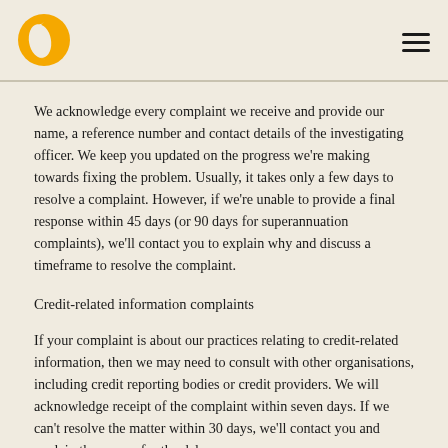[Figure (logo): Yellow/orange circular logo with a leaf or droplet cutout shape, on a beige background]
We acknowledge every complaint we receive and provide our name, a reference number and contact details of the investigating officer. We keep you updated on the progress we're making towards fixing the problem. Usually, it takes only a few days to resolve a complaint. However, if we're unable to provide a final response within 45 days (or 90 days for superannuation complaints), we'll contact you to explain why and discuss a timeframe to resolve the complaint.
Credit-related information complaints
If your complaint is about our practices relating to credit-related information, then we may need to consult with other organisations, including credit reporting bodies or credit providers. We will acknowledge receipt of the complaint within seven days. If we can't resolve the matter within 30 days, we'll contact you and explain the reason for the delay...